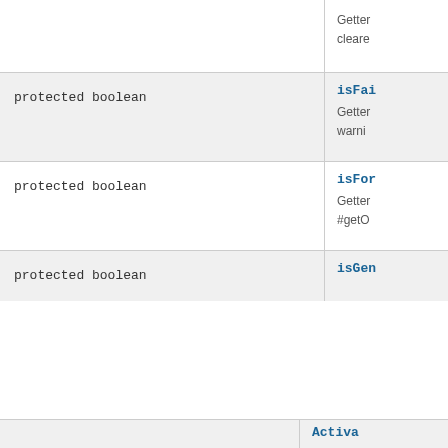| Type | Method/Description |
| --- | --- |
|  | Getter
cleare |
| protected boolean | isFai
Getter
warni |
| protected boolean | isFor
Getter
#getO |
| protected boolean | isGen
 |
We use cookies and similar technologies to give you a better experience, improve performance, analyze traffic, and to personalize content. By continuing to browse this website you agree to the use of cookies. For more information on how this website uses cookies, please select "Privacy Policy." To opt-out of cookies, please select "More Information."
Accept Cookies
More Information
Privacy Policy | Powered by: TrustArc
|  | Activa |